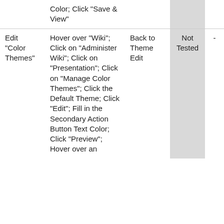|  | Color; Click "Save & View" |  | Not Tested | - |
| Edit "Color Themes" | Hover over "Wiki"; Click on "Administer Wiki"; Click on "Presentation"; Click on "Manage Color Themes"; Click the Default Theme; Click "Edit"; Fill in the Secondary Action Button Text Color; Click "Preview"; Hover over an | Back to Theme Edit | Not Tested | - |